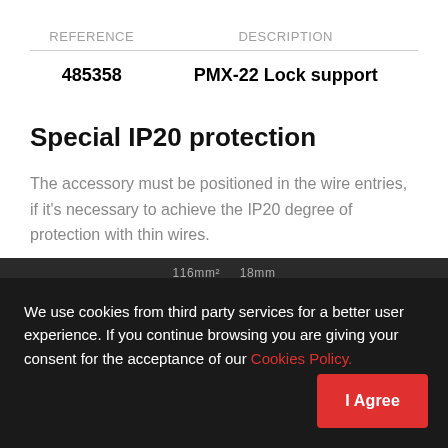| REFERENCE | DESCRIPTION |
| --- | --- |
| 485358 | PMX-22 Lock support |
Special IP20 protection
The accessory must be positioned in the wire entries, if it's necessary to achieve the IP20 degree of protection with thin wires.
We use cookies from third party services for a better user experience. If you continue browsing you are giving your consent for the acceptance of our Cookies Policy.